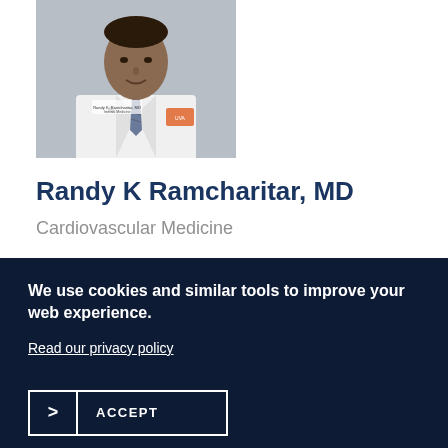[Figure (photo): Headshot of Dr. Randy K Ramcharitar in a white medical coat with a patterned tie, University of Virginia Health System logo on coat, gray background]
Randy K Ramcharitar, MD
Cardiovascular Medicine
We use cookies and similar tools to improve your web experience.
Read our privacy policy
ACCEPT